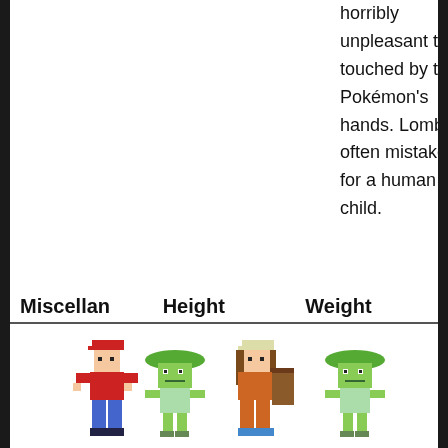horribly unpleasant to be touched by this Pokémon's hands. Lombre is often mistaken for a human child.
| Miscellan | Height | Weight |
| --- | --- | --- |
[Figure (illustration): Pixel art showing two trainers (Red and a brown-haired trainer) each standing next to a Lombre Pokémon, illustrating height comparison.]